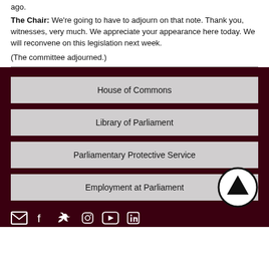ago.
The Chair: We're going to have to adjourn on that note. Thank you, witnesses, very much. We appreciate your appearance here today. We will reconvene on this legislation next week.
(The committee adjourned.)
House of Commons
Library of Parliament
Parliamentary Protective Service
Employment at Parliament